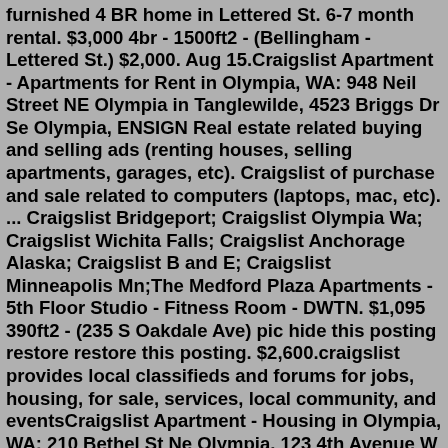furnished 4 BR home in Lettered St. 6-7 month rental. $3,000 4br - 1500ft2 - (Bellingham - Lettered St.) $2,000. Aug 15.Craigslist Apartment - Apartments for Rent in Olympia, WA: 948 Neil Street NE Olympia in Tanglewilde, 4523 Briggs Dr Se Olympia, ENSIGN Real estate related buying and selling ads (renting houses, selling apartments, garages, etc). Craigslist of purchase and sale related to computers (laptops, mac, etc). ... Craigslist Bridgeport; Craigslist Olympia Wa; Craigslist Wichita Falls; Craigslist Anchorage Alaska; Craigslist B and E; Craigslist Minneapolis Mn;The Medford Plaza Apartments - 5th Floor Studio - Fitness Room - DWTN. $1,095 390ft2 - (235 S Oakdale Ave) pic hide this posting restore restore this posting. $2,600.craigslist provides local classifieds and forums for jobs, housing, for sale, services, local community, and eventsCraigslist Apartment - Housing in Olympia, WA: 210 Bethel St Ne Olympia, 123 4th Avenue W Olympia in Tumwater, 119 E Cedar St 1Rentals Explore 30 apartments for rent in Olympia